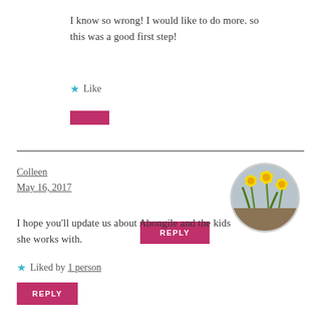I know so wrong! I would like to do more. so this was a good first step!
★ Like
REPLY
Colleen
May 16, 2017
[Figure (photo): Circular avatar photo showing yellow daffodil flowers]
I hope you’ll update us about Abongile and the kids she works with.
★ Liked by 1 person
REPLY
Kelley
[Figure (photo): Circular avatar photo partially visible at bottom right]